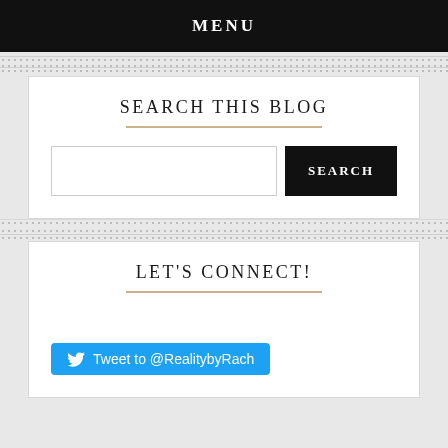MENU
SEARCH THIS BLOG
LET'S CONNECT!
Tweet to @RealitybyRach